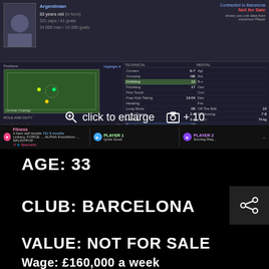[Figure (screenshot): Football Manager game screenshot showing a player profile. Player is 33 years old, contracted to Barcelona, listed as Not For Sale. Shows a pitch view with position dots, role and duty as Advanced Forward, attributes listed including Corners, Crossing, Dribbling, Finishing, First Touch, Free Kick Taking, Heading, Long Shots, Long Throws, Marking, Passing, Penalty Taking. Off The Ball, Positioning stats visible. Height and weight shown. Player Traits section visible. Overlay text reads 'click to enlarge' with camera icon and '+10'. Bottom shows PLAYER 1 and PLAYER 2 info bars.]
AGE: 33
CLUB: BARCELONA
VALUE: NOT FOR SALE
Wage: £160,000 a week